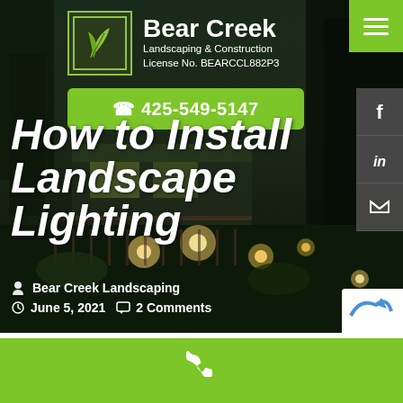[Figure (photo): Website screenshot of Bear Creek Landscaping and Construction showing a night landscape lighting scene with a house, wooden deck, and garden lighting in the background. The page header shows the company logo, phone number, and social media icons.]
How to Install Landscape Lighting
Bear Creek Landscaping
June 5, 2021   2 Comments